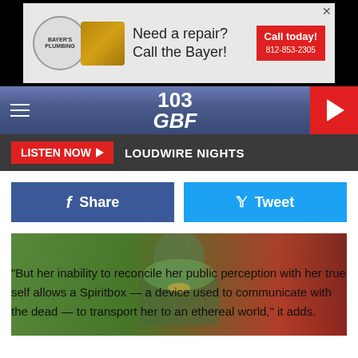[Figure (screenshot): Bayer's Plumbing advertisement banner: Need a repair? Call the Bayer! 812-853-2305]
[Figure (screenshot): 103 GBF radio station navigation bar with hamburger menu, logo, and play button]
LISTEN NOW  LOUDWIRE NIGHTS
[Figure (screenshot): Facebook Share and Twitter Tweet social sharing buttons]
[Figure (photo): Photo of a man in a green t-shirt with a necklace, hands clasped, looking down]
"But her inability to reconcile her public perception with her true self allows a Spiritbox — a device used to communicate with the dead — to transport her to an ethereal world," it adds.